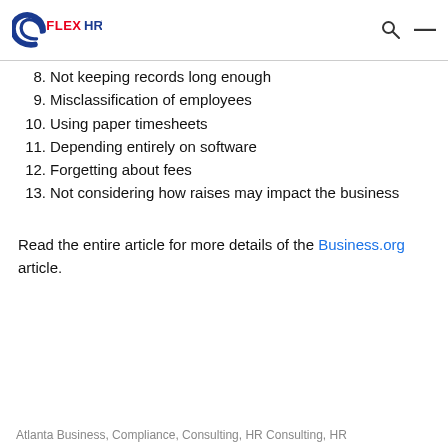FLEX HR
8. Not keeping records long enough
9. Misclassification of employees
10. Using paper timesheets
11. Depending entirely on software
12. Forgetting about fees
13. Not considering how raises may impact the business
Read the entire article for more details of the Business.org article.
Atlanta Business, Compliance, Consulting, HR Consulting, HR